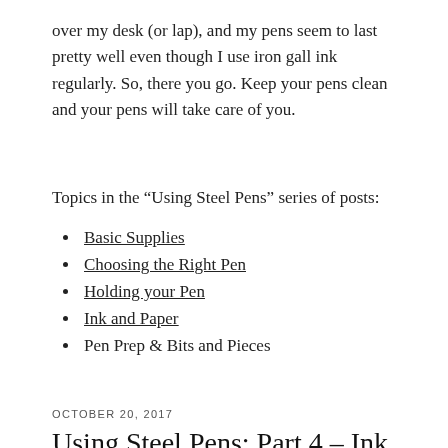over my desk (or lap), and my pens seem to last pretty well even though I use iron gall ink regularly. So, there you go. Keep your pens clean and your pens will take care of you.
Topics in the “Using Steel Pens” series of posts:
Basic Supplies
Choosing the Right Pen
Holding your Pen
Ink and Paper
Pen Prep & Bits and Pieces
OCTOBER 20, 2017
Using Steel Pens: Part 4 – Ink and Paper